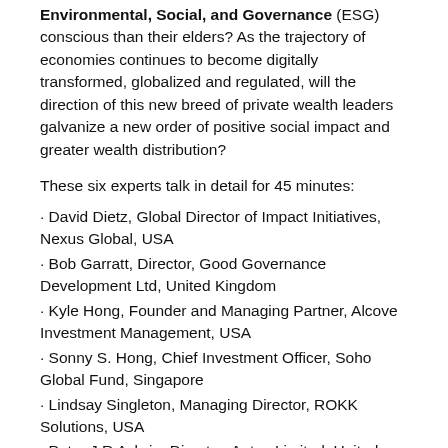Environmental, Social, and Governance (ESG) conscious than their elders? As the trajectory of economies continues to become digitally transformed, globalized and regulated, will the direction of this new breed of private wealth leaders galvanize a new order of positive social impact and greater wealth distribution?
These six experts talk in detail for 45 minutes:
David Dietz, Global Director of Impact Initiatives, Nexus Global, USA
Bob Garratt, Director, Good Governance Development Ltd, United Kingdom
Kyle Hong, Founder and Managing Partner, Alcove Investment Management, USA
Sonny S. Hong, Chief Investment Officer, Soho Global Fund, Singapore
Lindsay Singleton, Managing Director, ROKK Solutions, USA
Peter J.R Aylwin, Director, Aetos Limited, United Kingdom